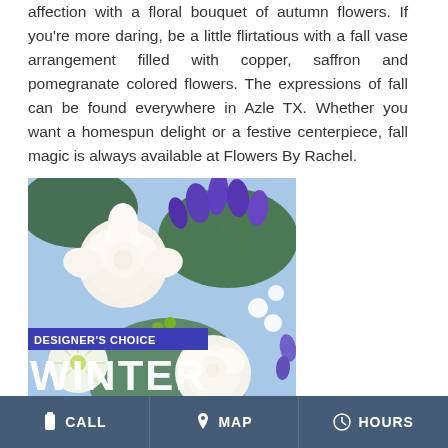affection with a floral bouquet of autumn flowers. If you're more daring, be a little flirtatious with a fall vase arrangement filled with copper, saffron and pomegranate colored flowers. The expressions of fall can be found everywhere in Azle TX. Whether you want a homespun delight or a festive centerpiece, fall magic is always available at Flowers By Rachel.
[Figure (photo): A winter floral arrangement featuring white roses, purple irises, white spider mums, and green berries. Overlaid text reads 'DESIGNER'S CHOICE WINTER'.]
CALL   MAP   HOURS